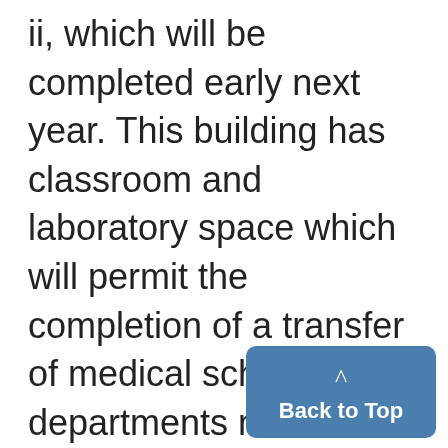ii, which will be completed early next year. This building has classroom and laboratory space which will permit the completion of a transfer of medical school departments not now on the medical campus area. The East Medical building will then be converted for use by overcrowded literary college and pharmacy ,units. The C. S. Mott Children's hospital scheduled for completion by the end of the year, was sponsored in large part by the Mott